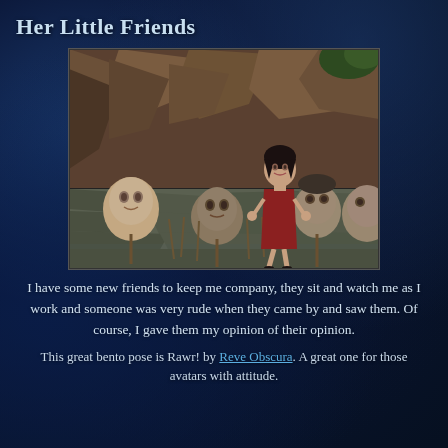Her Little Friends
[Figure (screenshot): A 3D virtual world screenshot showing a female avatar in a red dress standing among several creepy small humanoid heads on sticks emerging from a stone/water surface, with rocky terrain in the background.]
I have some new friends to keep me company, they sit and watch me as I work and someone was very rude when they came by and saw them. Of course, I gave them my opinion of their opinion.
This great bento pose is Rawr! by Reve Obscura. A great one for those avatars with attitude.